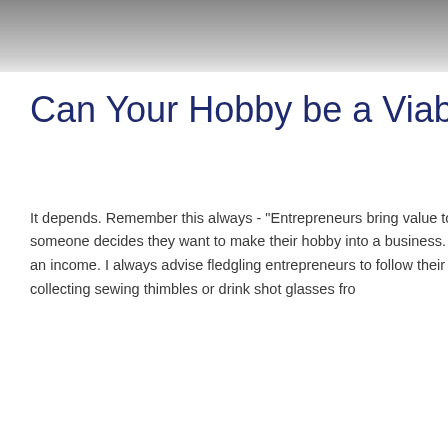[Figure (photo): Partial black and white photo of a person, cropped at the top of the page]
Can Your Hobby be a Viable
It depends. Remember this always - "Entrepreneurs bring value to someone decides they want to make their hobby into a business. B an income. I always advise fledgling entrepreneurs to follow their " collecting sewing thimbles or drink shot glasses fro